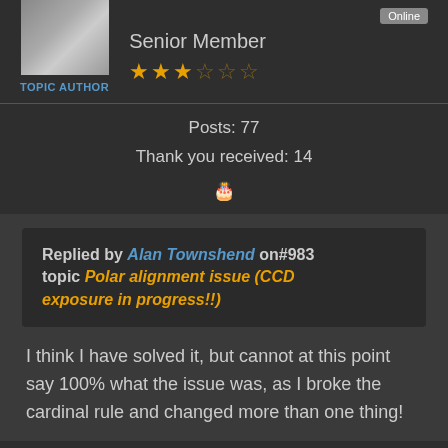[Figure (photo): User avatar photo of a man, with TOPIC AUTHOR label below]
Online
Senior Member
★★★☆☆☆ (star rating)
Posts: 77
Thank you received: 14
🎂 (birthday cake icon)
Replied by Alan Townshend on#983 topic Polar alignment issue (CCD exposure in progress!!)
I think I have solved it, but cannot at this point say 100% what the issue was, as I broke the cardinal rule and changed more than one thing!